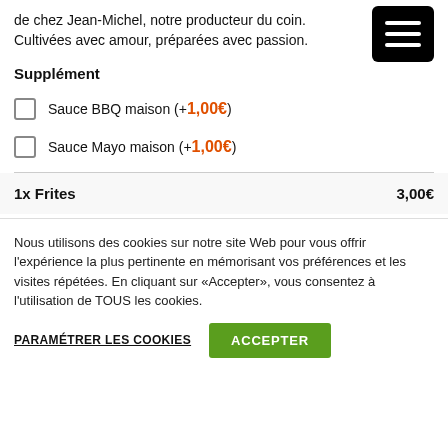de chez Jean-Michel, notre producteur du coin. Cultivées avec amour, préparées avec passion.
Supplément
Sauce BBQ maison (+1,00€)
Sauce Mayo maison (+1,00€)
1x Frites   3,00€
Nous utilisons des cookies sur notre site Web pour vous offrir l'expérience la plus pertinente en mémorisant vos préférences et les visites répétées. En cliquant sur «Accepter», vous consentez à l'utilisation de TOUS les cookies.
PARAMÉTRER LES COOKIES   ACCEPTER